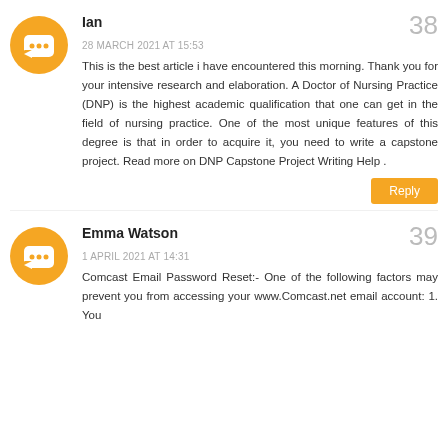[Figure (illustration): Orange circular Blogger avatar icon with white speech bubble symbol]
Ian
38
28 MARCH 2021 AT 15:53
This is the best article i have encountered this morning. Thank you for your intensive research and elaboration. A Doctor of Nursing Practice (DNP) is the highest academic qualification that one can get in the field of nursing practice. One of the most unique features of this degree is that in order to acquire it, you need to write a capstone project. Read more on DNP Capstone Project Writing Help .
Reply
[Figure (illustration): Orange circular Blogger avatar icon with white speech bubble symbol]
Emma Watson
39
1 APRIL 2021 AT 14:31
Comcast Email Password Reset:- One of the following factors may prevent you from accessing your www.Comcast.net email account: 1. You